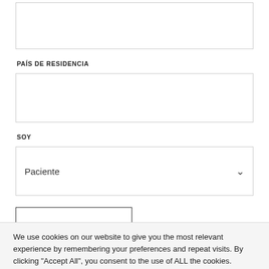[Figure (screenshot): Empty text input field at top of form]
PAÍS DE RESIDENCIA
[Figure (screenshot): Empty text input field for country of residence]
SOY
[Figure (screenshot): Dropdown select field showing 'Paciente' with chevron]
[Figure (screenshot): Partial button outline at bottom of form]
We use cookies on our website to give you the most relevant experience by remembering your preferences and repeat visits. By clicking "Accept All", you consent to the use of ALL the cookies. However, you may visit "Cookie Settings" to provide a controlled consent.
Cookie Settings
Accept All